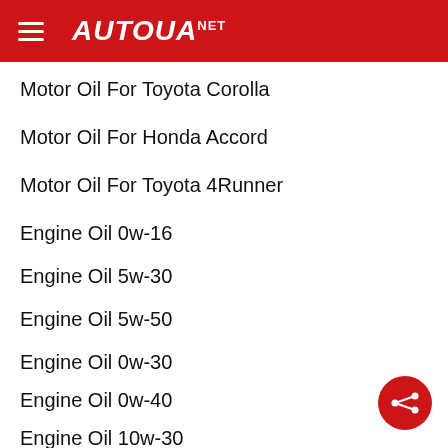AUTOUANET
Motor Oil For Toyota Corolla
Motor Oil For Honda Accord
Motor Oil For Toyota 4Runner
Engine Oil 0w-16
Engine Oil 5w-30
Engine Oil 5w-50
Engine Oil 0w-30
Engine Oil 0w-40
Engine Oil 10w-30